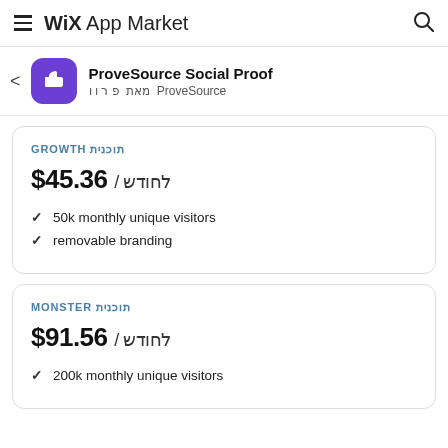Wix App Market
ProveSource Social Proof
מאת ProveSource
GROWTH תוכנית
$45.36 / לחודש
50k monthly unique visitors
removable branding
MONSTER תוכנית
$91.56 / לחודש
200k monthly unique visitors